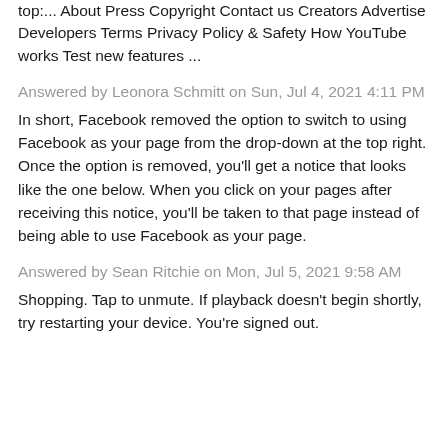top:... About Press Copyright Contact us Creators Advertise Developers Terms Privacy Policy & Safety How YouTube works Test new features ...
Answered by Leonora Schmitt on Sun, Jul 4, 2021 4:11 PM
In short, Facebook removed the option to switch to using Facebook as your page from the drop-down at the top right. Once the option is removed, you'll get a notice that looks like the one below. When you click on your pages after receiving this notice, you'll be taken to that page instead of being able to use Facebook as your page.
Answered by Sean Ritchie on Mon, Jul 5, 2021 9:58 AM
Shopping. Tap to unmute. If playback doesn't begin shortly, try restarting your device. You're signed out.